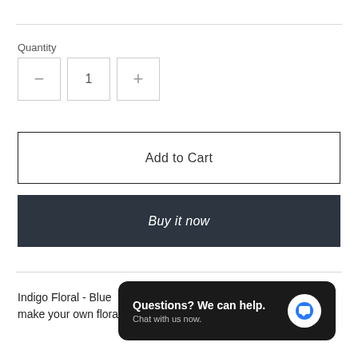Quantity
[Figure (screenshot): Quantity selector with minus, 1, and plus buttons in bordered boxes]
Add to Cart
Buy it now
Indigo Floral - Blue ... tever color you choose to make your own floral design.
[Figure (infographic): Chat overlay bubble: 'Questions? We can help. Chat with us now.' with blue speech bubble icon]